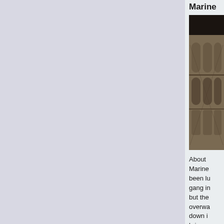Marine
[Figure (photo): Close-up photo of what appears to be military or architectural stone/concrete structures with arched details, brownish-tan in color against a dark background.]
About Marine been lu gang in but the overwa down i bring c behind shootin